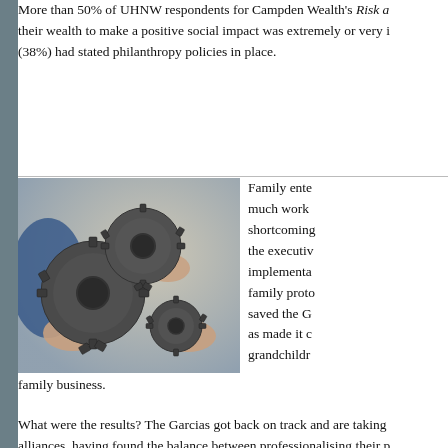More than 50% of UHNW respondents for Campden Wealth's Risk a… their wealth to make a positive social impact was extremely or very i… (38%) had stated philanthropy policies in place.
[Figure (photo): Hands holding interlocking metal gears]
Family ente… much work… shortcoming… the executiv… implementa… family proto… saved the G… as made it c… grandchildr… family business.
What were the results? The Garcias got back on track and are taking alliances, having found the balance between professionalising their p… typically present in Latin American family enterprises.